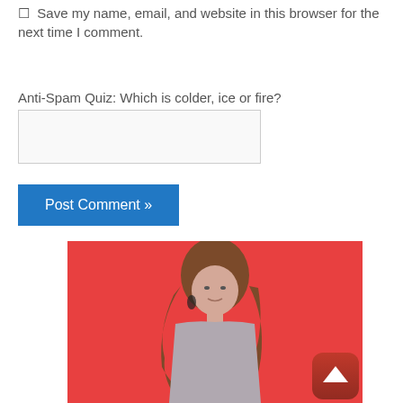Save my name, email, and website in this browser for the next time I comment.
Anti-Spam Quiz: Which is colder, ice or fire?
Post Comment »
[Figure (photo): Woman with long brown hair standing against a red background, wearing a gray/lavender outfit. A dark red scroll-to-top button with a white upward arrow is visible in the bottom right corner of the image.]